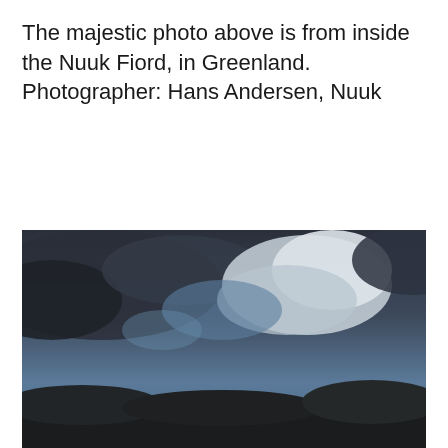The majestic photo above is from inside the Nuuk Fiord, in Greenland. Photographer: Hans Andersen, Nuuk
[Figure (photo): Panoramic photo showing a dramatic sky with dark clouds and patches of blue sky, taken inside Nuuk Fiord, Greenland. A cookie consent banner overlays the lower portion of the image.]
Privacy & Cookies: This site uses cookies. By continuing to use this website, you agree to their use.
To find out more, including how to control cookies, see here: Cookie Policy